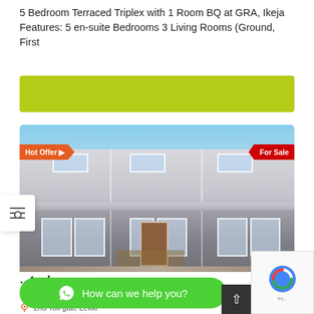5 Bedroom Terraced Triplex with 1 Room BQ at GRA, Ikeja Features: 5 en-suite Bedrooms 3 Living Rooms (Ground, First
[Figure (photo): Exterior photo of a grey terraced triplex building with white-framed windows, under construction, with 'Hot Offer' badge on left and 'For Sale' badge on right]
...triplex
Price on...
How can we help you?
2nd Toll gate Lekki